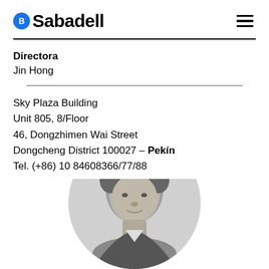Sabadell
Directora
Jin Hong
Sky Plaza Building
Unit 805, 8/Floor
46, Dongzhimen Wai Street
Dongcheng District 100027 – Pekín
Tel. (+86) 10 84608366/77/88
[Figure (photo): Black and white circular portrait photo of a person, cropped at chin level, showing face and upper head against a light background.]